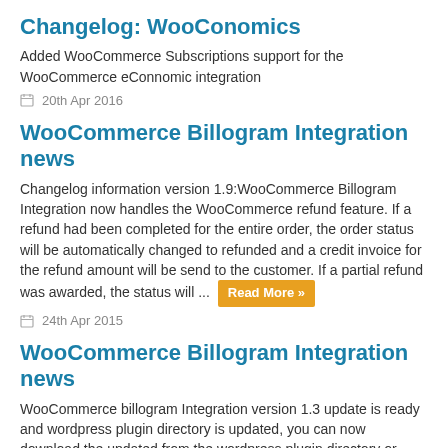Changelog: WooConomics
Added WooCommerce Subscriptions support for the WooCommerce eConnomic integration
20th Apr 2016
WooCommerce Billogram Integration news
Changelog information version 1.9:WooCommerce Billogram Integration now handles the WooCommerce refund feature. If a refund had been completed for the entire order, the order status will be automatically changed to refunded and a credit invoice for the refund amount will be send to the customer. If a partial refund was awarded, the status will ... Read More »
24th Apr 2015
WooCommerce Billogram Integration news
WooCommerce billogram Integration version 1.3 update is ready and wordpress plugin directory is updated, you can now download the updated from the wordpress plugin directory or directly update from version 1.2 to 1.3 at your wordpress dashboard.Changelog: 1.    Due_days attribute is added. 2.    Order status changed ...